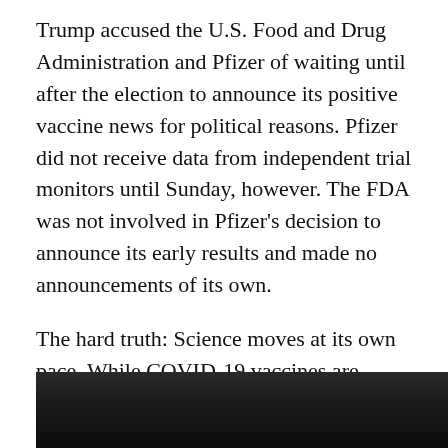Trump accused the U.S. Food and Drug Administration and Pfizer of waiting until after the election to announce its positive vaccine news for political reasons. Pfizer did not receive data from independent trial monitors until Sunday, however. The FDA was not involved in Pfizer's decision to announce its early results and made no announcements of its own.
The hard truth: Science moves at its own pace. While COVID-19 vaccines are being developed at record speeds in hope of ending the pandemic, when they're ready for prime time depends on a long list of research steps including how many study volunteers wind up getting the coronavirus — something scientists cannot control.
[Figure (photo): Partial view of a dark photograph, only the top portion visible at the bottom of the page]